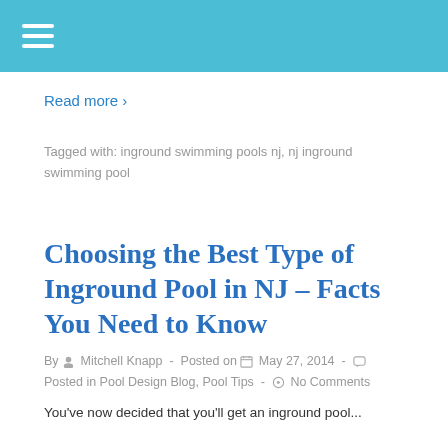Read more ›
Tagged with: inground swimming pools nj, nj inground swimming pool
Choosing the Best Type of Inground Pool in NJ – Facts You Need to Know
By Mitchell Knapp - Posted on May 27, 2014 - Posted in Pool Design Blog, Pool Tips - No Comments
You've now decided that you'll get an inground pool...